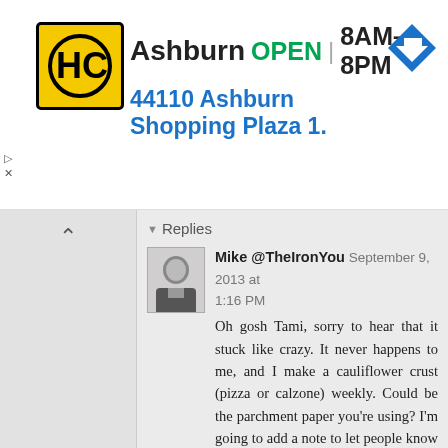[Figure (screenshot): Ad banner for HC (Hairclub?) Ashburn location. Shows logo, OPEN status, hours 8AM-8PM, address 44110 Ashburn Shopping Plaza 1., and a navigation arrow icon.]
Replies
Mike @TheIronYou September 9, 2013 at 1:16 PM
Oh gosh Tami, sorry to hear that it stuck like crazy. It never happens to me, and I make a cauliflower crust (pizza or calzone) weekly. Could be the parchment paper you're using? I'm going to add a note to let people know that this may happen.
Thanks for sharing!
kari January 26, 2015 at 11:53 AM